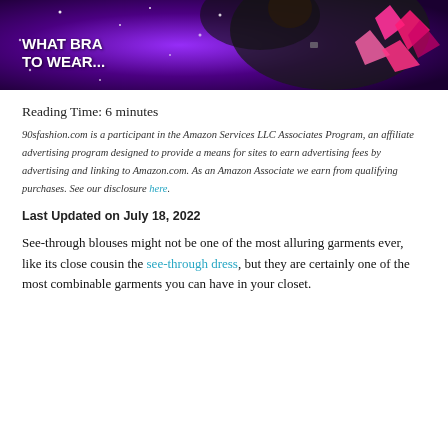[Figure (photo): Banner image with purple/dark background showing a person in dark clothing, pink leaves decoration on right side, and bold white text 'WHAT BRA TO WEAR...' on the left]
Reading Time: 6 minutes
90sfashion.com is a participant in the Amazon Services LLC Associates Program, an affiliate advertising program designed to provide a means for sites to earn advertising fees by advertising and linking to Amazon.com. As an Amazon Associate we earn from qualifying purchases. See our disclosure here.
Last Updated on July 18, 2022
See-through blouses might not be one of the most alluring garments ever, like its close cousin the see-through dress, but they are certainly one of the most combinable garments you can have in your closet.